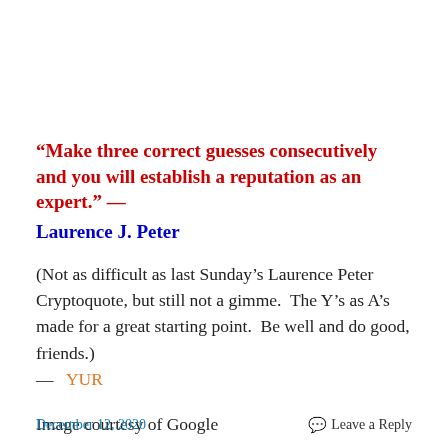“Make three correct guesses consecutively and you will establish a reputation as an expert.”   —  Laurence J. Peter
(Not as difficult as last Sunday’s Laurence Peter Cryptoquote, but still not a gimme.  The Y’s as A’s made for a great starting point.  Be well and do good, friends.)  —   YUR
Image courtesy of Google
December 12, 2020   Leave a Reply